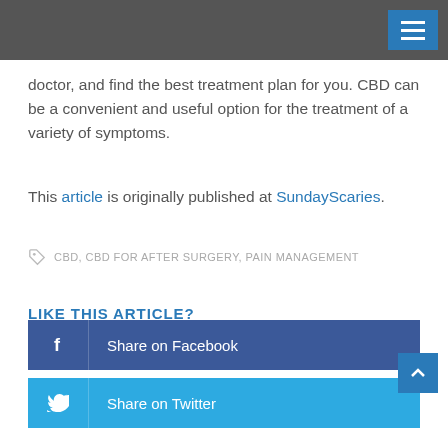doctor, and find the best treatment plan for you. CBD can be a convenient and useful option for the treatment of a variety of symptoms.
This article is originally published at SundayScaries.
CBD, CBD FOR AFTER SURGERY, PAIN MANAGEMENT
LIKE THIS ARTICLE?
Share on Facebook
Share on Twitter